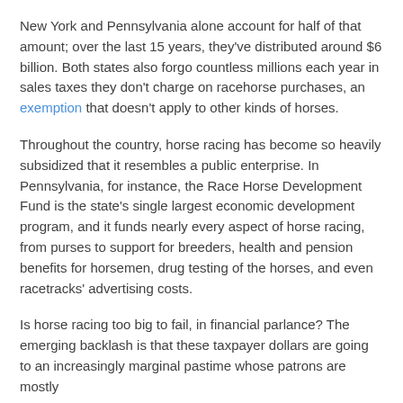New York and Pennsylvania alone account for half of that amount; over the last 15 years, they've distributed around $6 billion. Both states also forgo countless millions each year in sales taxes they don't charge on racehorse purchases, an exemption that doesn't apply to other kinds of horses.
Throughout the country, horse racing has become so heavily subsidized that it resembles a public enterprise. In Pennsylvania, for instance, the Race Horse Development Fund is the state's single largest economic development program, and it funds nearly every aspect of horse racing, from purses to support for breeders, health and pension benefits for horsemen, drug testing of the horses, and even racetracks' advertising costs.
Is horse racing too big to fail, in financial parlance? The emerging backlash is that these taxpayer dollars are going to an increasingly marginal pastime whose patrons are mostly